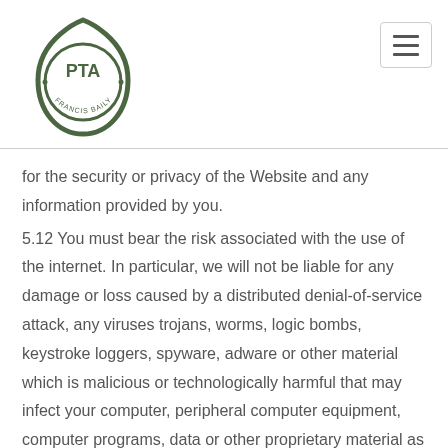[Figure (logo): PTA (Francis Baily) circular logo with green shield/egg shape outline]
for the security or privacy of the Website and any information provided by you.
5.12 You must bear the risk associated with the use of the internet. In particular, we will not be liable for any damage or loss caused by a distributed denial-of-service attack, any viruses trojans, worms, logic bombs, keystroke loggers, spyware, adware or other material which is malicious or technologically harmful that may infect your computer, peripheral computer equipment, computer programs, data or other proprietary material as a result of your use of the Website or you downloading any material posted or sold on the Website or from any website linked to it.